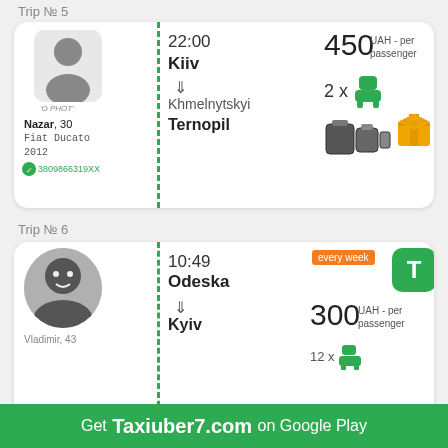Trip № 5
22:00
Kiiv
⇓
Khmelnytskyi
Ternopil
450 UAH - per passenger
2 x
Nazar, 30
Fiat Ducato
2012
3809866319XX
Trip № 6
10:49
Odeska
⇓
Kyiv
every week
300 UAH - per passenger
Vladimir, 43
Get Taxiuber7.com on Google Play